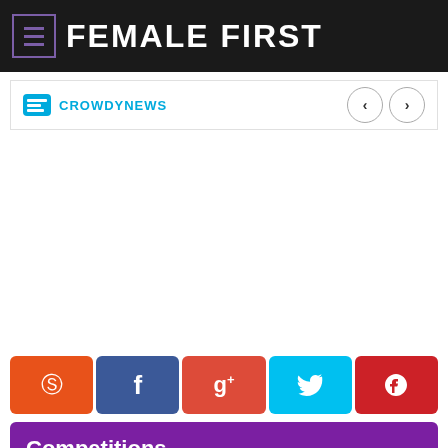FEMALE FIRST
[Figure (logo): Crowdynews logo with navigation arrows (left and right chevrons in circles)]
[Figure (other): White content area (advertisement or empty space)]
[Figure (infographic): Social sharing buttons row: StumbleUpon (orange), Facebook (dark blue), Google+ (red-orange), Twitter (cyan), Pinterest (red)]
Competitions